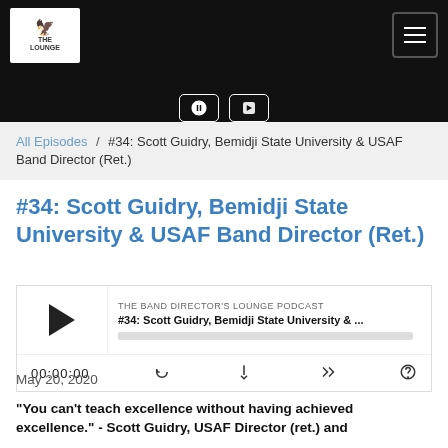[Figure (logo): The Band Director's Lounge logo with bird icon in white box on black nav bar]
All Episodes / #34: Scott Guidry, Bemidji State University & USAF Band Director (Ret.)
#34: Scott Guidry, Bemidji State University & USAF Band Director (Ret.)
[Figure (screenshot): Podcast player widget showing play button, episode title '#34: Scott Guidry, Bemidji State University & ...', progress bar, time 00:00:00 and controls]
May 20, 2020
“You can’t teach excellence without having achieved excellence.” - Scott Guidry, USAF Director (ret.) and